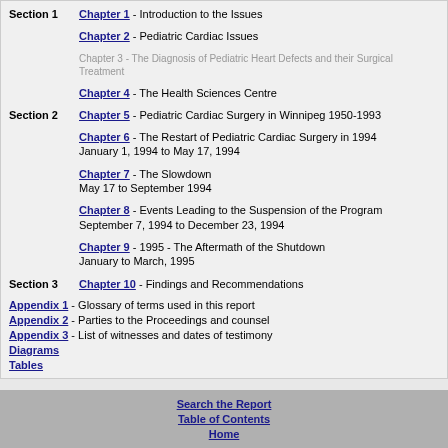Section 1 - Chapter 1 - Introduction to the Issues
Chapter 2 - Pediatric Cardiac Issues
Chapter 3 - The Diagnosis of Pediatric Heart Defects and their Surgical Treatment
Chapter 4 - The Health Sciences Centre
Section 2 - Chapter 5 - Pediatric Cardiac Surgery in Winnipeg 1950-1993
Chapter 6 - The Restart of Pediatric Cardiac Surgery in 1994 January 1, 1994 to May 17, 1994
Chapter 7 - The Slowdown May 17 to September 1994
Chapter 8 - Events Leading to the Suspension of the Program September 7, 1994 to December 23, 1994
Chapter 9 - 1995 - The Aftermath of the Shutdown January to March, 1995
Section 3 - Chapter 10 - Findings and Recommendations
Appendix 1 - Glossary of terms used in this report
Appendix 2 - Parties to the Proceedings and counsel
Appendix 3 - List of witnesses and dates of testimony
Diagrams
Tables
Search the Report | Table of Contents | Home